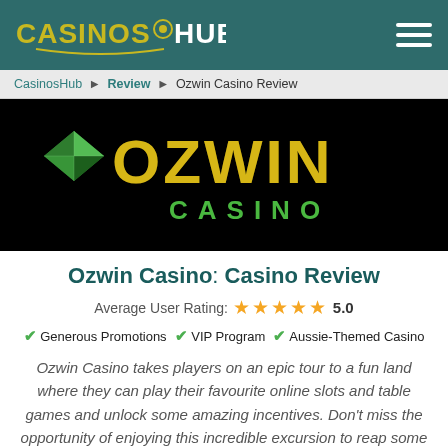CASINOS HUB
CasinosHub ▶ Review ▶ Ozwin Casino Review
[Figure (logo): Ozwin Casino logo — large gold 'OZWIN' text with a gem/diamond icon, and green 'CASINO' text below, on a black background]
Ozwin Casino: Casino Review
Average User Rating: ★★★★★ 5.0
✔ Generous Promotions  ✔ VIP Program  ✔ Aussie-Themed Casino
Ozwin Casino takes players on an epic tour to a fun land where they can play their favourite online slots and table games and unlock some amazing incentives. Don't miss the opportunity of enjoying this incredible excursion to reap some gigantic wins along the way.